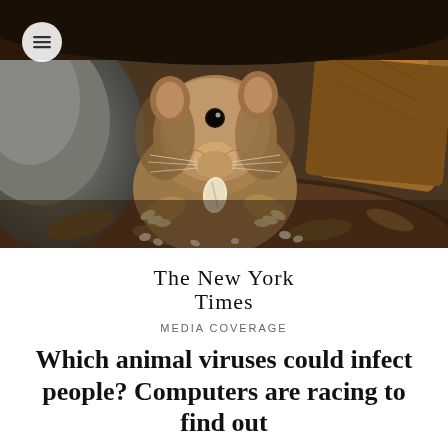[Figure (photo): Close-up photograph of a small brown vole or mouse emerging from underneath rocks and soil, holding a seed in its paws, with a menu/hamburger icon button overlaid in the top-left corner]
[Figure (logo): The New York Times masthead logo in blackletter/gothic font]
MEDIA COVERAGE
Which animal viruses could infect people? Computers are racing to find out